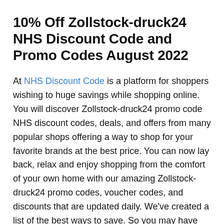10% Off Zollstock-druck24 NHS Discount Code and Promo Codes August 2022
At NHS Discount Code is a platform for shoppers wishing to huge savings while shopping online. You will discover Zollstock-druck24 promo code NHS discount codes, deals, and offers from many popular shops offering a way to shop for your favorite brands at the best price. You can now lay back, relax and enjoy shopping from the comfort of your own home with our amazing Zollstock-druck24 promo codes, voucher codes, and discounts that are updated daily. We've created a list of the best ways to save. So you may have more fun with Store name